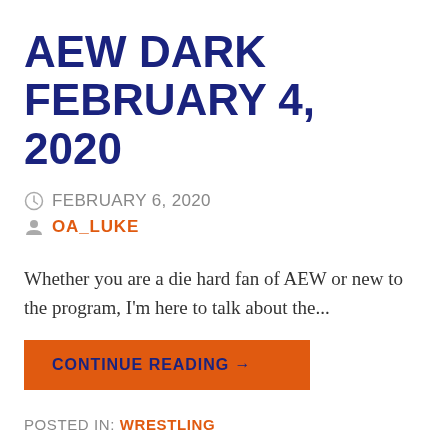AEW DARK FEBRUARY 4, 2020
FEBRUARY 6, 2020
OA_LUKE
Whether you are a die hard fan of AEW or new to the program, I'm here to talk about the...
CONTINUE READING →
POSTED IN: WRESTLING